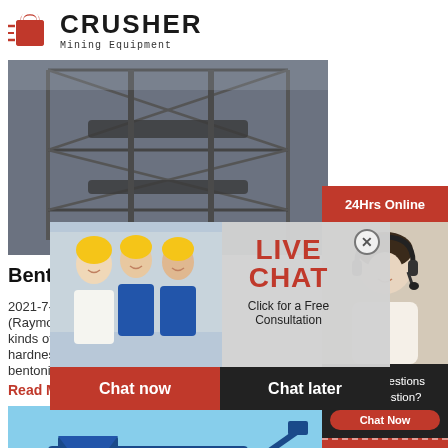[Figure (logo): Crusher Mining Equipment logo with red shopping bag icon and bold CRUSHER text]
[Figure (photo): Industrial mining crusher machinery, large steel frame structure]
Bentonit...
2021-7-16
(Raymond M...
kinds of non...
hardness le...
bentonite, dolomite,
Read More
[Figure (photo): Blue mobile crusher machine on tracks outdoors]
[Figure (infographic): Live Chat overlay with workers in hard hats, LIVE CHAT title, Click for a Free Consultation, Chat now and Chat later buttons]
[Figure (photo): 24Hrs Online banner with woman wearing headset, Need questions & suggestion, Chat Now button, Enquiry section, limingjlmofen@sina.com email]